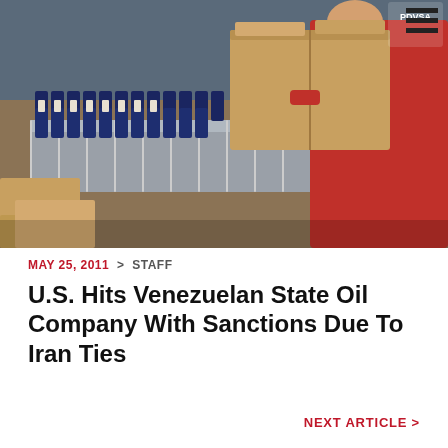[Figure (photo): Worker in red PDVSA coveralls carrying a cardboard box in an oil products warehouse/factory with rows of dark blue lubricant bottles on a conveyor belt]
MAY 25, 2011 > STAFF
U.S. Hits Venezuelan State Oil Company With Sanctions Due To Iran Ties
NEXT ARTICLE >